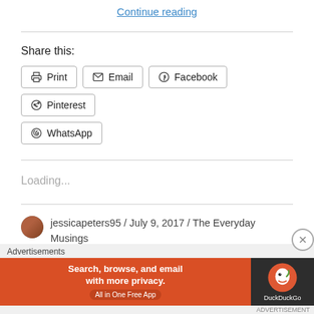Continue reading
Share this:
Print
Email
Facebook
Pinterest
WhatsApp
Loading...
jessicapeters95 / July 9, 2017 / The Everyday Musings / Blog, Canada, DIY, Food Blog, Healthy, Home Reno's,
Advertisements
[Figure (screenshot): DuckDuckGo advertisement banner: orange left side with text 'Search, browse, and email with more privacy. All in One Free App', dark right side with DuckDuckGo logo]